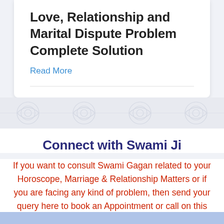Love, Relationship and Marital Dispute Problem Complete Solution
Read More
Connect with Swami Ji
If you want to consult Swami Gagan related to your Horoscope, Marriage & Relationship Matters or if you are facing any kind of problem, then send your query here to book an Appointment or call on this number +91-
Send Query